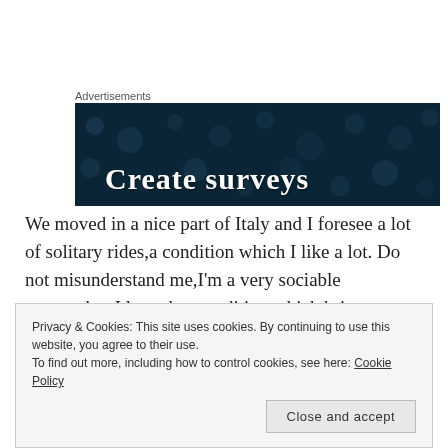Advertisements
[Figure (screenshot): Dark navy advertisement banner with circular dot pattern in background and white serif text reading 'Create surveys']
We moved in a nice part of Italy and I foresee a lot of solitary rides,a condition which I like a lot. Do not misunderstand me,I'm a very sociable woman,but I love that condition which brings me to stay a lot with myself musing about my spiritual and earthly life. Oh,I'm always and so often looking for answers. . .
Privacy & Cookies: This site uses cookies. By continuing to use this website, you agree to their use.
To find out more, including how to control cookies, see here: Cookie Policy
Close and accept